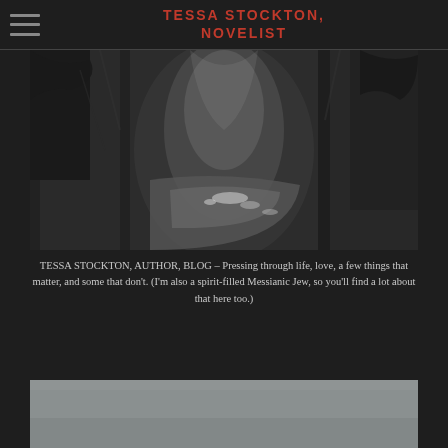TESSA STOCKTON, NOVELIST
[Figure (photo): Black and white aerial/overhead photograph of a narrow rocky gorge with a river or stream flowing through it, surrounded by dark rocky cliffs and vegetation]
TESSA STOCKTON, AUTHOR, BLOG – Pressing through life, love, a few things that matter, and some that don't. (I'm also a spirit-filled Messianic Jew, so you'll find a lot about that here too.)
[Figure (photo): Partial view of a gray/muted colored image at the bottom of the page, mostly cut off]